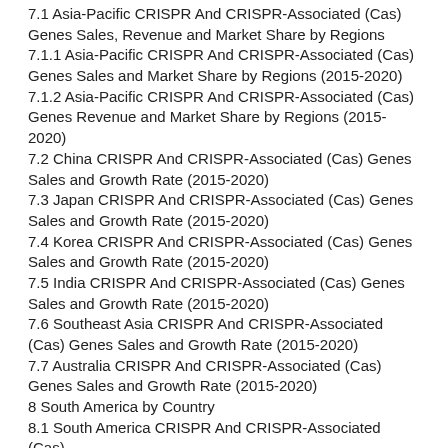7.1 Asia-Pacific CRISPR And CRISPR-Associated (Cas) Genes Sales, Revenue and Market Share by Regions
7.1.1 Asia-Pacific CRISPR And CRISPR-Associated (Cas) Genes Sales and Market Share by Regions (2015-2020)
7.1.2 Asia-Pacific CRISPR And CRISPR-Associated (Cas) Genes Revenue and Market Share by Regions (2015-2020)
7.2 China CRISPR And CRISPR-Associated (Cas) Genes Sales and Growth Rate (2015-2020)
7.3 Japan CRISPR And CRISPR-Associated (Cas) Genes Sales and Growth Rate (2015-2020)
7.4 Korea CRISPR And CRISPR-Associated (Cas) Genes Sales and Growth Rate (2015-2020)
7.5 India CRISPR And CRISPR-Associated (Cas) Genes Sales and Growth Rate (2015-2020)
7.6 Southeast Asia CRISPR And CRISPR-Associated (Cas) Genes Sales and Growth Rate (2015-2020)
7.7 Australia CRISPR And CRISPR-Associated (Cas) Genes Sales and Growth Rate (2015-2020)
8 South America by Country
8.1 South America CRISPR And CRISPR-Associated (Cas)